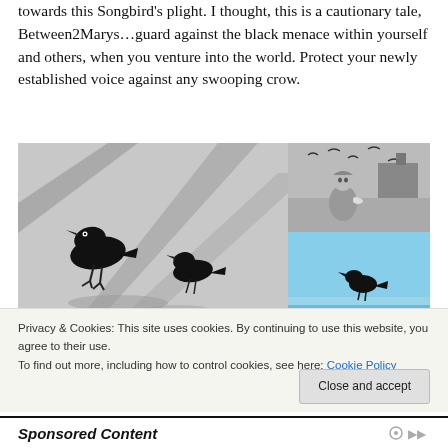towards this Songbird's plight. I thought, this is a cautionary tale, Between2Marys…guard against the black menace within yourself and others, when you venture into the world. Protect your newly established voice against any swooping crow.
[Figure (photo): Black and white photo of two crows on pavement with shadows, a smaller crow in background. Right side has two stacked photos: top is black and white of a woman with birds, bottom is a color photo of a crow silhouette against blue sky.]
Privacy & Cookies: This site uses cookies. By continuing to use this website, you agree to their use.
To find out more, including how to control cookies, see here: Cookie Policy
Close and accept
Sponsored Content